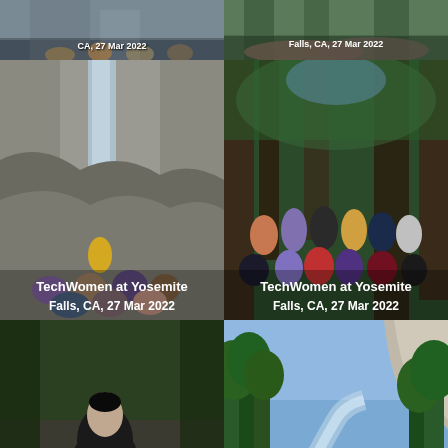[Figure (photo): Partial top view of group photo at Yosemite Falls, CA, 27 Mar 2022 — cropped, top portion visible]
[Figure (photo): Partial top view of group photo at Yosemite Falls, CA, 27 Mar 2022 — cropped, top portion visible]
[Figure (photo): TechWomen group photo at base of Yosemite Falls waterfall, CA, 27 Mar 2022]
[Figure (photo): TechWomen group photo in redwood forest at Yosemite Falls, CA, 27 Mar 2022]
[Figure (photo): TechWomen participant crouching by rocky stream at Yosemite Falls, CA, 27 Mar 2022]
[Figure (photo): Scenic view of Yosemite valley with tall trees and El Capitan, Yosemite Falls, CA, 27 Mar 2022]